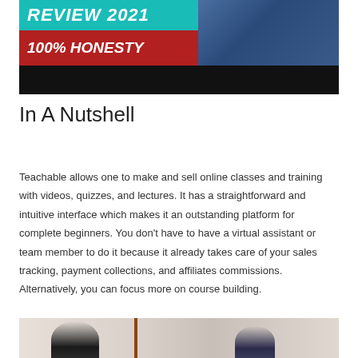[Figure (screenshot): Video thumbnail showing 'REVIEW 2021' text in teal banner, '100% HONESTY' text on red banner, a man in plaid shirt on dark blue background, with black video player bar at bottom]
In A Nutshell
Teachable allows one to make and sell online classes and training with videos, quizzes, and lectures. It has a straightforward and intuitive interface which makes it an outstanding platform for complete beginners. You don't have to have a virtual assistant or team member to do it because it already takes care of your sales tracking, payment collections, and affiliates commissions. Alternatively, you can focus more on course building.
[Figure (photo): Photo of students or people in a learning environment, partially visible at bottom of page]